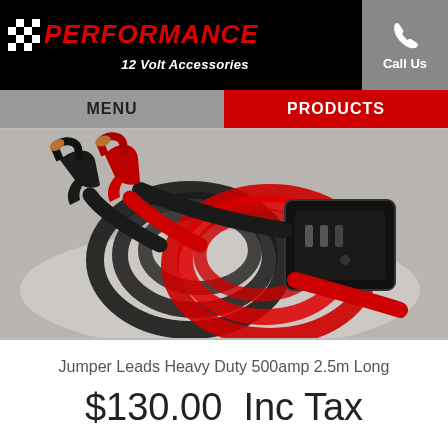[Figure (logo): Performance 12 Volt Accessories logo with checkered flag pattern and red text on black background]
Call Us
MENU   PRODUCTS
[Figure (photo): Heavy duty jumper leads with red and black cables coiled, showing clamps and a black connector box]
Jumper Leads Heavy Duty 500amp 2.5m Long
$130.00  Inc Tax